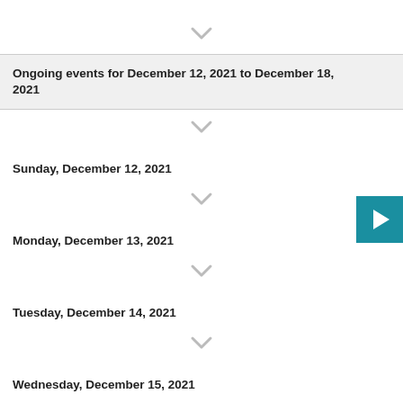Ongoing events for December 12, 2021 to December 18, 2021
Sunday, December 12, 2021
Monday, December 13, 2021
Tuesday, December 14, 2021
Wednesday, December 15, 2021
Thursday, December 16, 2021